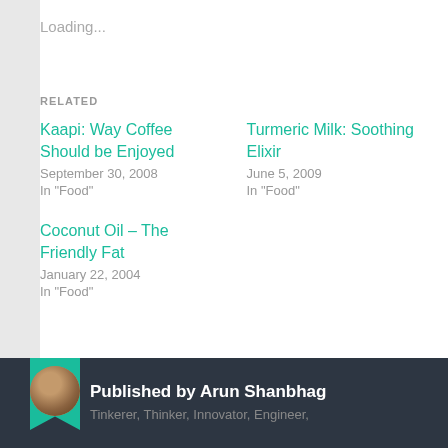Loading...
RELATED
Kaapi: Way Coffee Should be Enjoyed
September 30, 2008
In "Food"
Turmeric Milk: Soothing Elixir
June 5, 2009
In "Food"
Coconut Oil – The Friendly Fat
January 22, 2004
In "Food"
Published by Arun Shanbhag
Tinkerer, Thinker, Innovator, Engineer,